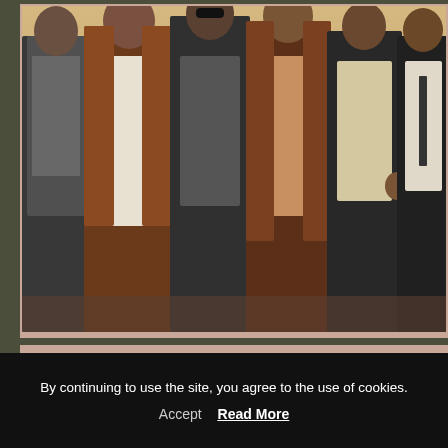[Figure (photo): A group of six men standing together, casually dressed in jackets and open shirts, posing in front of a warm-toned background. The image has a painted or stylized photographic quality.]
Friday, September 15, 2017
25 YEARS OCCII (1992-2017) Featured
Doors open: 00:00
By continuing to use the site, you agree to the use of cookies.
Accept    Read More